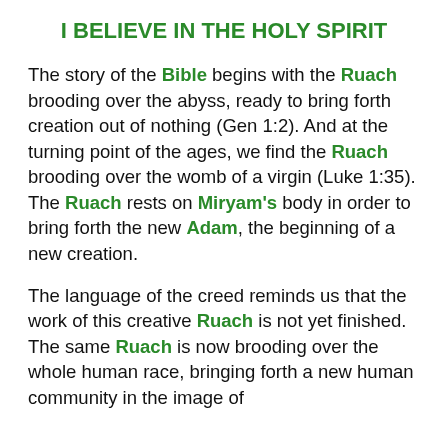I BELIEVE IN THE HOLY SPIRIT
The story of the Bible begins with the Ruach brooding over the abyss, ready to bring forth creation out of nothing (Gen 1:2). And at the turning point of the ages, we find the Ruach brooding over the womb of a virgin (Luke 1:35). The Ruach rests on Miryam's body in order to bring forth the new Adam, the beginning of a new creation.
The language of the creed reminds us that the work of this creative Ruach is not yet finished. The same Ruach is now brooding over the whole human race, bringing forth a new human community in the image of